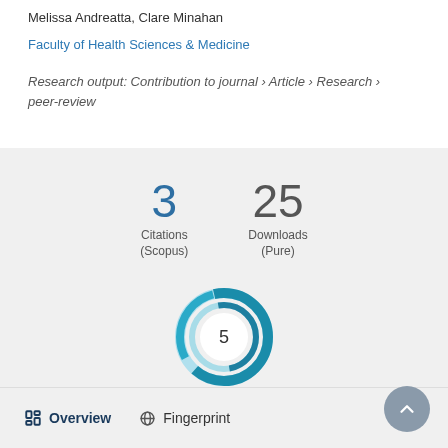Melissa Andreatta, Clare Minahan
Faculty of Health Sciences & Medicine
Research output: Contribution to journal › Article › Research › peer-review
[Figure (infographic): Metrics display showing 3 Citations (Scopus) and 25 Downloads (Pure), plus a donut badge with the number 5]
Overview   Fingerprint